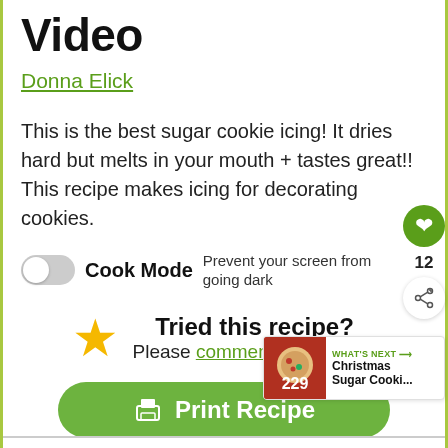Video
Donna Elick
This is the best sugar cookie icing! It dries hard but melts in your mouth + tastes great!! This recipe makes icing for decorating cookies.
[Figure (infographic): Cook Mode toggle switch with label 'Cook Mode' and text 'Prevent your screen from going dark']
Tried this recipe? Please comment and review!
[Figure (infographic): Print Recipe green button with printer icon]
[Figure (infographic): Floating right panel with heart button (12 likes) and share button, plus What's Next: Christmas Sugar Cooki... panel with image]